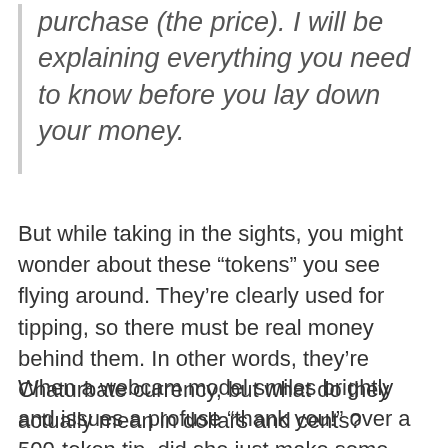purchase (the price). I will be explaining everything you need to know before you lay down your money.
But while taking in the sights, you might wonder about these “tokens” you see flying around. They’re clearly used for tipping, so there must be real money behind them. In other words, they’re Chaturbate currency, but what do they actually mean in dollars and cents?
When a webcam model smiles brightly and issues a profuse “thank you!” over a 500-token tip, did she just make some real